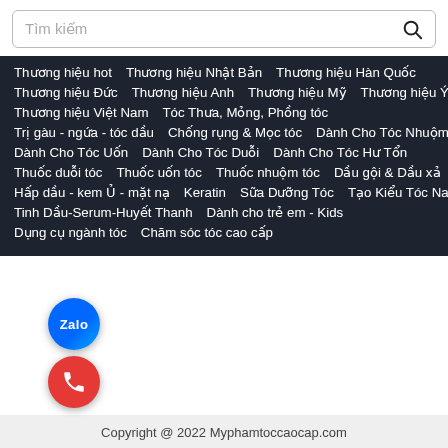Tìm kiếm
Thương hiệu hot   Thương hiệu Nhật Bản   Thương hiệu Hàn Quốc
Thương hiệu Đức   Thương hiệu Anh   Thương hiệu Mỹ   Thương hiệu Ý
Thương hiệu Việt Nam   Tóc Thưa, Mỏng, Phồng tóc
Trị gàu - ngứa - tóc dầu   Chống rụng & Mọc tóc   Dành Cho Tóc Nhuộm
Dành Cho Tóc Uốn   Dành Cho Tóc Duỗi   Dành Cho Tóc Hư Tổn
Thuốc duỗi tóc   Thuốc uốn tóc   Thuốc nhuộm tóc   Dầu gội & Dầu xả
Hấp dầu - kem Ủ - mặt nạ   Keratin   Sữa Dưỡng Tóc   Tạo Kiểu Tóc Nam
Tinh Dầu-Serum-Huyết Thanh   Dành cho trẻ em - Kids
Dụng cụ ngành tóc   Chăm sóc tóc cao cấp
Copyright @ 2022 Myphamtoccaocap.com